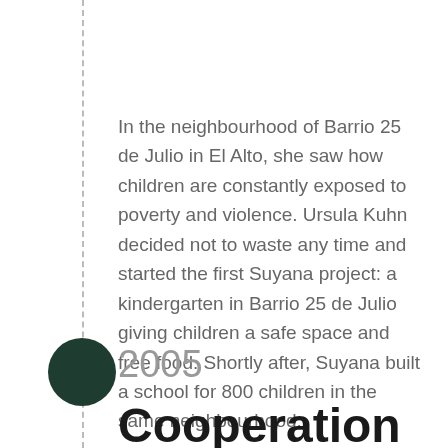In the neighbourhood of Barrio 25 de Julio in El Alto, she saw how children are constantly exposed to poverty and violence. Ursula Kuhn decided not to waste any time and started the first Suyana project: a kindergarten in Barrio 25 de Julio giving children a safe space and free food. Shortly after, Suyana built a school for 800 children in the same neighbourhood.
2005
Cooperation